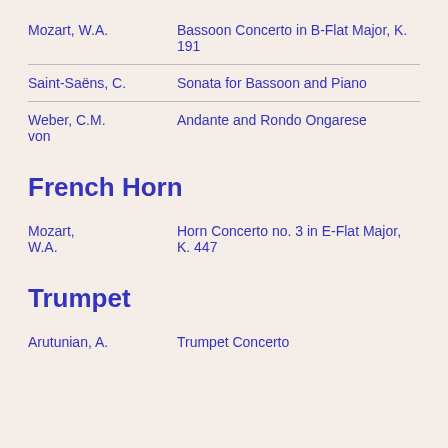| Composer | Work |
| --- | --- |
| Mozart, W.A. | Bassoon Concerto in B-Flat Major, K. 191 |
| Saint-Saëns, C. | Sonata for Bassoon and Piano |
| Weber, C.M. von | Andante and Rondo Ongarese |
French Horn
| Composer | Work |
| --- | --- |
| Mozart, W.A. | Horn Concerto no. 3 in E-Flat Major, K. 447 |
Trumpet
| Composer | Work |
| --- | --- |
| Arutunian, A. | Trumpet Concerto |